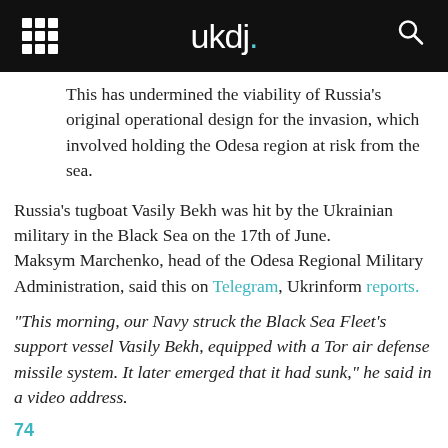ukdj.
This has undermined the viability of Russia's original operational design for the invasion, which involved holding the Odesa region at risk from the sea.
Russia's tugboat Vasily Bekh was hit by the Ukrainian military in the Black Sea on the 17th of June.
Maksym Marchenko, head of the Odesa Regional Military Administration, said this on Telegram, Ukrinform reports.
“This morning, our Navy struck the Black Sea Fleet’s support vessel Vasily Bekh, equipped with a Tor air defense missile system. It later emerged that it had sunk,” he said in a video address.
74
The vessel was understood to be carrying supplies and soldiers to strengthen the Russian presence on the occupied Snake Island.